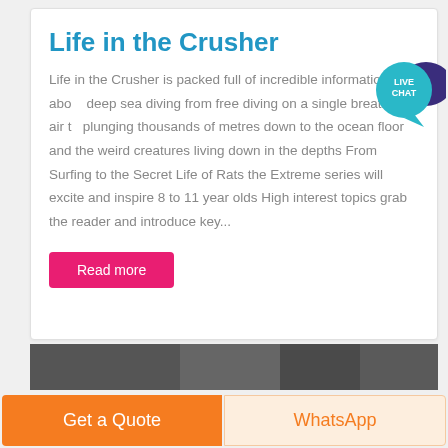Life in the Crusher
Life in the Crusher is packed full of incredible information about deep sea diving from free diving on a single breath of air to plunging thousands of metres down to the ocean floor and the weird creatures living down in the depths From Surfing to the Secret Life of Rats the Extreme series will excite and inspire 8 to 11 year olds High interest topics grab the reader and introduce key...
[Figure (other): Read more button - pink/red button with white text]
[Figure (other): Live Chat badge - teal circle with LIVE CHAT text and dark bubble tail]
[Figure (photo): Partial image strip showing a dark photograph at bottom of page]
Get a Quote
WhatsApp